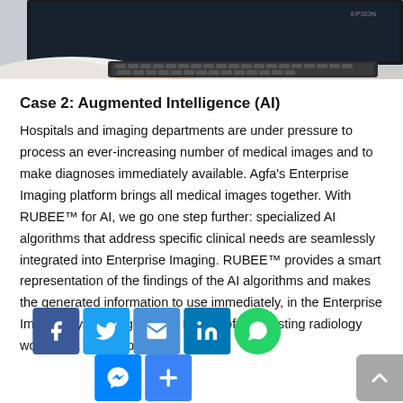[Figure (photo): Photo of a person's hands typing on a keyboard in front of a large monitor/screen, cropped at the top of the page.]
Case 2: Augmented Intelligence (AI)
Hospitals and imaging departments are under pressure to process an ever-increasing number of medical images and to make diagnoses immediately available. Agfa’s Enterprise Imaging platform brings all medical images together. With RUBEE™ for AI, we go one step further: specialized AI algorithms that address specific clinical needs are seamlessly integrated into Enterprise Imaging. RUBEE™ provides a smart representation of the findings of the AI algorithms and makes the generated information to use immediately, in the Enterprise Imaging system, right in the middle of the existing radiology workflows. This approach is